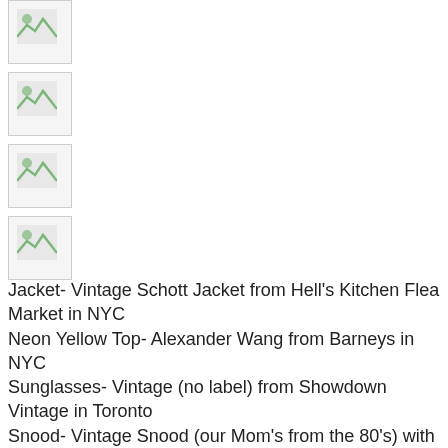[Figure (photo): Placeholder image icon (broken image)]
[Figure (photo): Placeholder image icon (broken image)]
[Figure (photo): Placeholder image icon (broken image)]
[Figure (photo): Placeholder image icon (broken image)]
Jacket- Vintage Schott Jacket from Hell's Kitchen Flea Market in NYC
Neon Yellow Top- Alexander Wang from Barneys in NYC
Sunglasses- Vintage (no label) from Showdown Vintage in Toronto
Snood- Vintage Snood (our Mom's from the 80's) with studs on it
Pants- Lilly Lab a gift sent from Lilly Lab! YAY!!!
Grey leggings- Grey American Apparel leggings from American Apparel store in NYC
Boots- Pura Lopez from Holt Renfrew in Toronto
Gloves- Chenille peach gloves from Duane Reade in NYC
Pink purse under arm- Vintage Jay Herbert clutch from Colette store in Hampton's in NYC
Ankle Purse- Chanel Ankle Purse from Chanel store in NYC (because I am on house arrest) hahha! just kidding! My